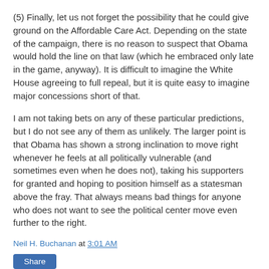(5) Finally, let us not forget the possibility that he could give ground on the Affordable Care Act. Depending on the state of the campaign, there is no reason to suspect that Obama would hold the line on that law (which he embraced only late in the game, anyway). It is difficult to imagine the White House agreeing to full repeal, but it is quite easy to imagine major concessions short of that.
I am not taking bets on any of these particular predictions, but I do not see any of them as unlikely. The larger point is that Obama has shown a strong inclination to move right whenever he feels at all politically vulnerable (and sometimes even when he does not), taking his supporters for granted and hoping to position himself as a statesman above the fray. That always means bad things for anyone who does not want to see the political center move even further to the right.
Neil H. Buchanan at 3:01 AM
Share